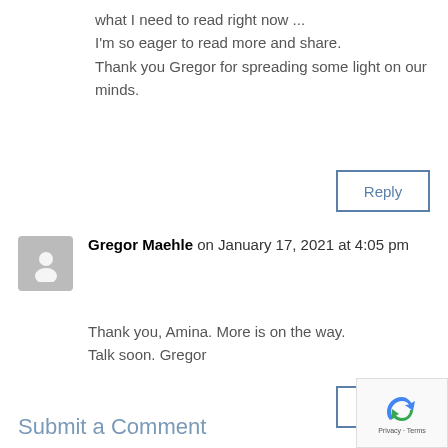what I need to read right now ...
I'm so eager to read more and share.
Thank you Gregor for spreading some light on our minds.
Reply
Gregor Maehle on January 17, 2021 at 4:05 pm
Thank you, Amina. More is on the way.
Talk soon. Gregor
Reply
Submit a Comment